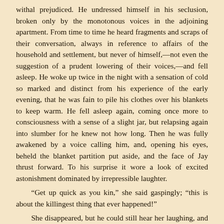withal prejudiced. He undressed himself in his seclusion, broken only by the monotonous voices in the adjoining apartment. From time to time he heard fragments and scraps of their conversation, always in reference to affairs of the household and settlement, but never of himself,—not even the suggestion of a prudent lowering of their voices,—and fell asleep. He woke up twice in the night with a sensation of cold so marked and distinct from his experience of the early evening, that he was fain to pile his clothes over his blankets to keep warm. He fell asleep again, coming once more to consciousness with a sense of a slight jar, but relapsing again into slumber for he knew not how long. Then he was fully awakened by a voice calling him, and, opening his eyes, beheld the blanket partition put aside, and the face of Jay thrust forward. To his surprise it wore a look of excited astonishment dominated by irrepressible laughter.
“Get up quick as you kin,” she said gaspingly; “this is about the killingest thing that ever happened!”
She disappeared, but he could still hear her laughing, and to his utter astonishment with her disappearance the floor seemed to change its level. A giddy feeling seized him; he put his feet to the floor; it was unmistakably wet and oozing. He hurriedly clothed himself, still accompanied by the strange feeling of oscillation and giddiness, and passed though the opening into the next room. Astonishing to say, he had the same off...